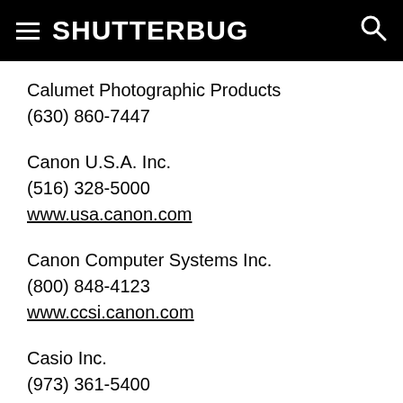SHUTTERBUG
Calumet Photographic Products
(630) 860-7447
Canon U.S.A. Inc.
(516) 328-5000
www.usa.canon.com
Canon Computer Systems Inc.
(800) 848-4123
www.ccsi.canon.com
Casio Inc.
(973) 361-5400
fax: (973) 537-8964